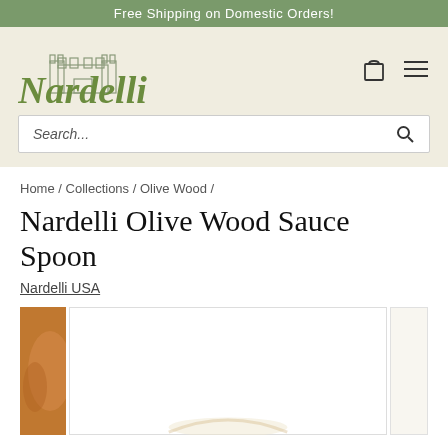Free Shipping on Domestic Orders!
[Figure (logo): Nardelli brand logo with castle illustration and italic green serif text]
Search...
Home / Collections / Olive Wood /
Nardelli Olive Wood Sauce Spoon
Nardelli USA
[Figure (photo): Product photo area showing the Nardelli Olive Wood Sauce Spoon, with a hand holding the spoon visible at left edge]